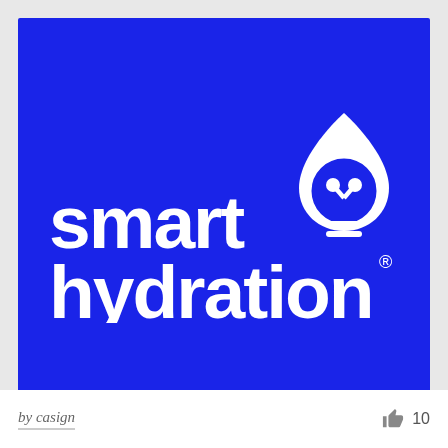[Figure (logo): Smart Hydration logo on a bright blue background. The logo shows a water droplet shaped lightbulb icon in white combined with the text 'smart hydration®' in bold white sans-serif font.]
by casign
10